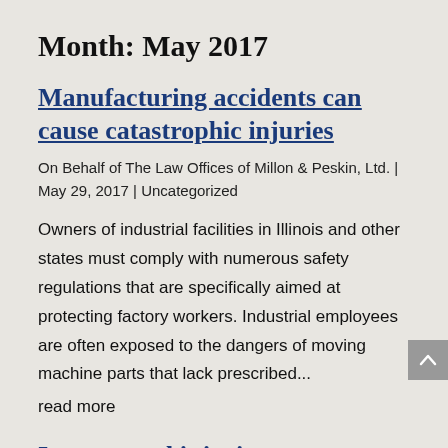Month: May 2017
Manufacturing accidents can cause catastrophic injuries
On Behalf of The Law Offices of Millon & Peskin, Ltd. | May 29, 2017 | Uncategorized
Owners of industrial facilities in Illinois and other states must comply with numerous safety regulations that are specifically aimed at protecting factory workers. Industrial employees are often exposed to the dangers of moving machine parts that lack prescribed...
read more
Incremental injuries cause